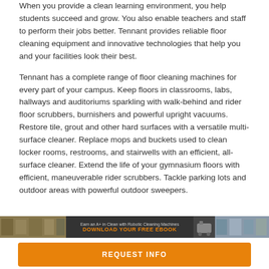When you provide a clean learning environment, you help students succeed and grow. You also enable teachers and staff to perform their jobs better. Tennant provides reliable floor cleaning equipment and innovative technologies that help you and your facilities look their best.
Tennant has a complete range of floor cleaning machines for every part of your campus. Keep floors in classrooms, labs, hallways and auditoriums sparkling with walk-behind and rider floor scrubbers, burnishers and powerful upright vacuums. Restore tile, grout and other hard surfaces with a versatile multi-surface cleaner. Replace mops and buckets used to clean locker rooms, restrooms, and stairwells with an efficient, all-surface cleaner. Extend the life of your gymnasium floors with efficient, maneuverable rider scrubbers. Tackle parking lots and outdoor areas with powerful outdoor sweepers.
[Figure (infographic): Banner strip with product images on left and right, center text reading 'Earn an A+ in Clean with Robotic Cleaning Machines' and 'DOWNLOAD YOUR FREE EBOOK' in orange, with a small robot/machine icon.]
REQUEST INFO